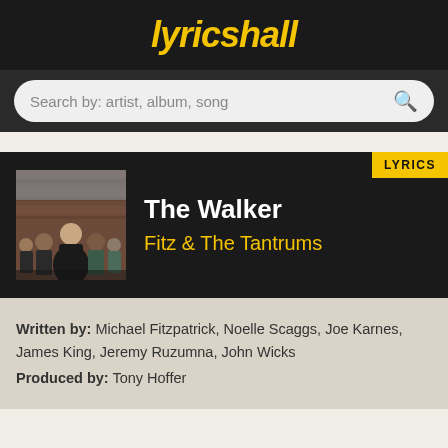lyricshall
Search by: artist, album, song
LYRICS
The Walker
Fitz & The Tantrums
[Figure (photo): Album cover photo showing a group of people, with one person in the foreground wearing a dark jacket, against a brick building backdrop]
Written by: Michael Fitzpatrick, Noelle Scaggs, Joe Karnes, James King, Jeremy Ruzumna, John Wicks
Produced by: Tony Hoffer